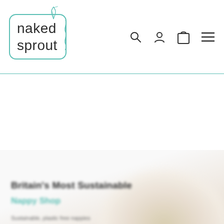[Figure (logo): Naked Sprout logo: rounded rectangle border in teal, text 'naked sprout' in dark gray with decorative leaf and squiggle, nav icons (search, user, cart, menu) on the right]
[Figure (photo): Blurred hero section with text overlay: bold heading 'Britain's Most Sustainable', teal colored subtitle 'Nappy Shop', descriptive blurred text, and a 'Shop Naked Sprout' call-to-action button. Background shows blurred image of natural/organic products.]